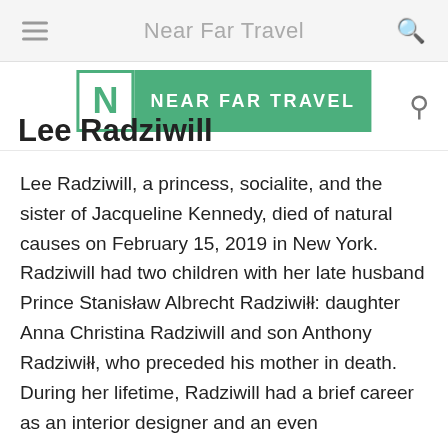Near Far Travel
[Figure (logo): Near Far Travel logo: white N in green box next to green banner reading NEAR FAR TRAVEL]
Lee Radziwill
Lee Radziwill, a princess, socialite, and the sister of Jacqueline Kennedy, died of natural causes on February 15, 2019 in New York. Radziwill had two children with her late husband Prince Stanisław Albrecht Radziwiłł: daughter Anna Christina Radziwill and son Anthony Radziwiłł, who preceded his mother in death. During her lifetime, Radziwill had a brief career as an interior designer and an even